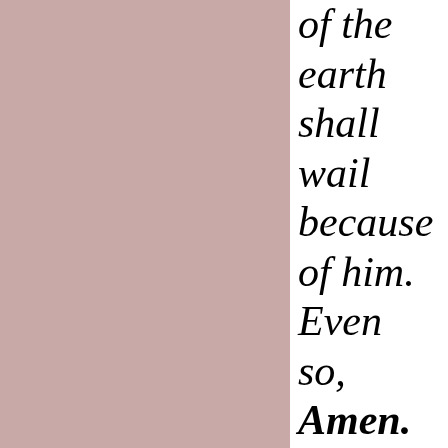of the earth shall wail because of him. Even so, Amen. (Again, the AMEN indicating another change of
[Figure (illustration): Large mauve/dusty pink colored rectangle occupying the left two-thirds of the page]